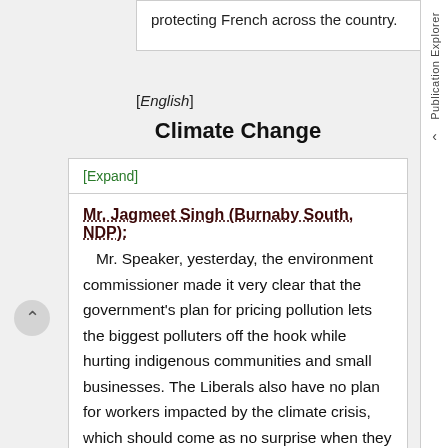protecting French across the country.
[English]
Climate Change
[Expand]
Mr. Jagmeet Singh (Burnaby South, NDP):
Mr. Speaker, yesterday, the environment commissioner made it very clear that the government's plan for pricing pollution lets the biggest polluters off the hook while hurting indigenous communities and small businesses. The Liberals also have no plan for workers impacted by the climate crisis, which should come as no surprise when they have a plan where they take advice from big oil and